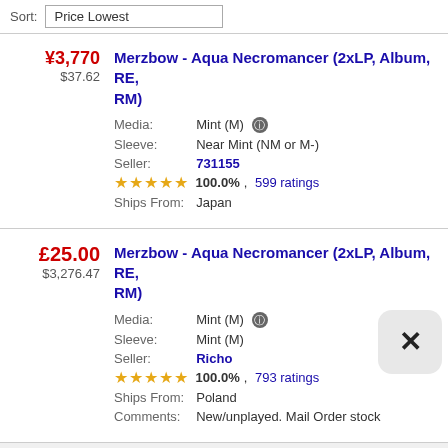Sort: Price Lowest
¥3,770 / $37.62 — Merzbow - Aqua Necromancer (2xLP, Album, RE, RM) | Media: Mint (M) | Sleeve: Near Mint (NM or M-) | Seller: 731155 | 100.0%, 599 ratings | Ships From: Japan
£25.00 / $3,276.47 — Merzbow - Aqua Necromancer (2xLP, Album, RE, RM) | Media: Mint (M) | Sleeve: Mint (M) | Seller: Richo | 100.0%, 793 ratings | Ships From: Poland | Comments: New/unplayed. Mail Order stock